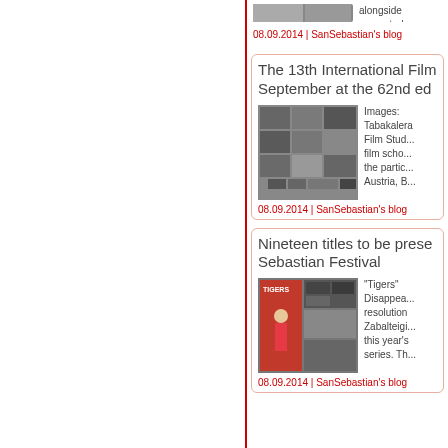[Figure (photo): Partial top image strip from previous article]
alongside... presented...
08.09.2014 | SanSebastian's blog
The 13th International Film... September at the 62nd ed...
[Figure (photo): Mosaic of film images from the 13th International Film Students meeting at Tabakalera Film Studios]
Images... Tabakalera Film Stud... film scho... the partic... Austria, B...
08.09.2014 | SanSebastian's blog
Nineteen titles to be prese... Sebastian Festival
[Figure (photo): Tigers movie poster and collage of film stills for nineteen titles at San Sebastian Festival]
"Tigers"... Disappea... resolution... Zabaltegi... this year's... series. Th...
08.09.2014 | SanSebastian's blog